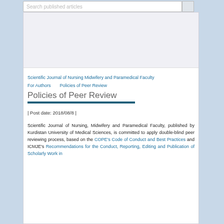Search published articles
Scientific Journal of Nursing Midwifery and Paramedical Faculty
For Authors    Policies of Peer Review
Policies of Peer Review
| Post date: 2018/08/8 |
Scientific Journal of Nursing, Midwifery and Paramedical Faculty, published by Kurdistan University of Medical Sciences, is committed to apply double-blind peer reviewing process, based on the COPE's Code of Conduct and Best Practices and ICMJE's Recommendations for the Conduct, Reporting, Editing and Publication of Scholarly Work in